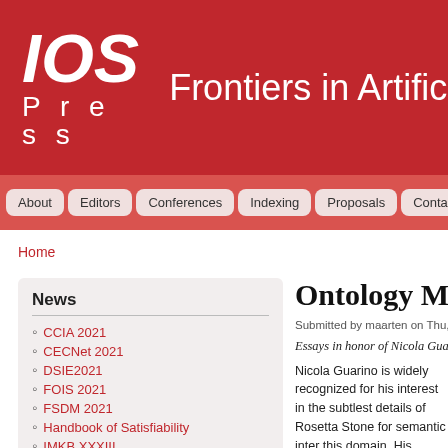IOS Press — Frontiers in Artificial Intelligence
About | Editors | Conferences | Indexing | Proposals | Contact
Home
News
CCIA 2021
CECNet 2021
DSIE2021
FOIS 2021
FSDM 2021
Handbook of Satisfiability
IMKB XXXIII
JURIX 2021
MMBD 2021 and MLIS 2021
Ontology Makes
Submitted by maarten on Thu, 09/26
Essays in honor of Nicola Guari
Nicola Guarino is widely recognized for his interest in the subtlest details of Rosetta Stone for semantic inter this domain. His motivations in